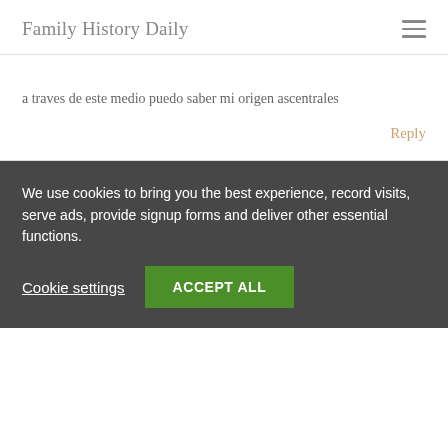Family History Daily
a traves de este medio puedo saber mi origen ascentrales
Reply
We use cookies to bring you the best experience, record visits, serve ads, provide signup forms and deliver other essential functions.
Cookie settings  ACCEPT ALL